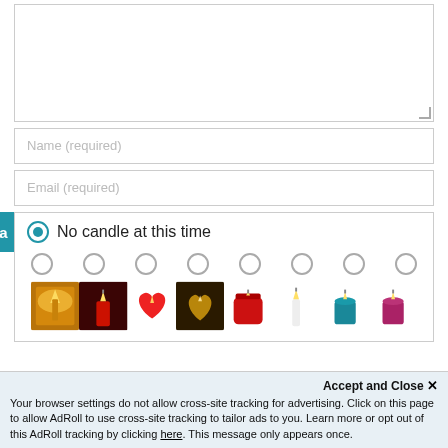[Figure (screenshot): Textarea input box (empty) with resize handle]
Name (required)
Email (required)
No candle at this time
[Figure (illustration): Row of 8 radio buttons above 8 candle images. Candles include: golden flame candle, red candle, red heart candle, heart-shaped candle on dark background, red jar candle, white taper candle, teal pillar candle, pink pillar candle.]
Accept and Close ✕
Your browser settings do not allow cross-site tracking for advertising. Click on this page to allow AdRoll to use cross-site tracking to tailor ads to you. Learn more or opt out of this AdRoll tracking by clicking here. This message only appears once.